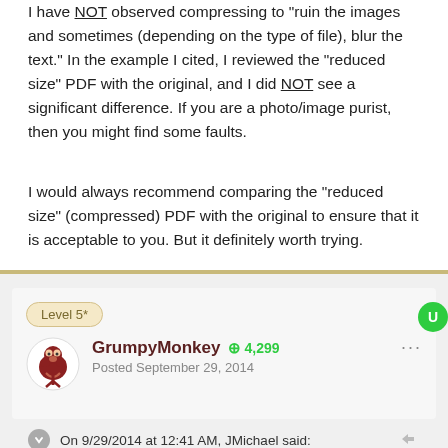I have NOT observed compressing to "ruin the images and sometimes (depending on the type of file), blur the text." In the example I cited, I reviewed the "reduced size" PDF with the original, and I did NOT see a significant difference. If you are a photo/image purist, then you might find some faults.
I would always recommend comparing the "reduced size" (compressed) PDF with the original to ensure that it is acceptable to you. But it definitely worth trying.
Level 5*
GrumpyMonkey +4,299 Posted September 29, 2014
On 9/29/2014 at 12:41 AM, JMichael said: